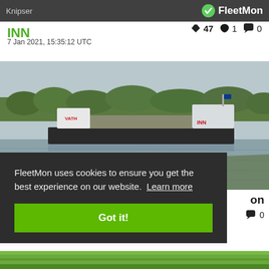Knipser | FleetMon
INN
47 likes, 1 favorite, 0 comments
7 Jan 2021, 15:35:12 UTC
[Figure (photo): River cargo vessel named INN (VATH) sailing on a wide river with trees in the background, overcast sky]
FleetMon uses cookies to ensure you get the best experience on our website. Learn more
Got it!
on
0 comments